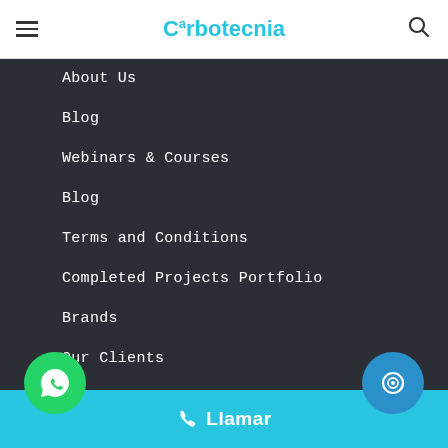Carbotecnia
About Us
Blog
Webinars & Courses
Blog
Terms and Conditions
Completed Projects Portfolio
Brands
Our Clients
Code of ethics
Online Shop
Llamar